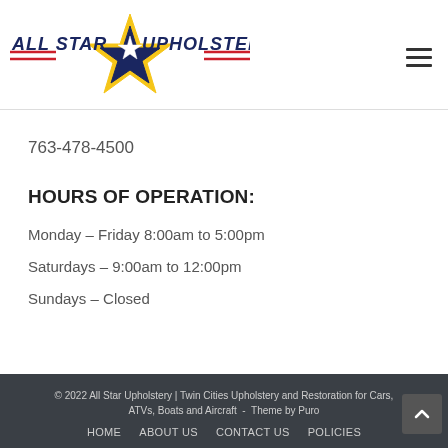[Figure (logo): All Star Upholstery logo with navy star on gold star background, red lines on either side of the text, and text reading ALL STAR UPHOLSTERY]
763-478-4500
HOURS OF OPERATION:
Monday – Friday 8:00am to 5:00pm
Saturdays – 9:00am to 12:00pm
Sundays – Closed
© 2022 All Star Upholstery | Twin Cities Upholstery and Restoration for Cars, ATVs, Boats and Aircraft  -  Theme by Puro
HOME   ABOUT US   CONTACT US   POLICIES